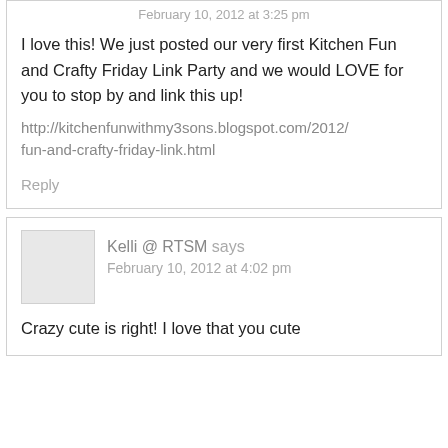February 10, 2012 at 3:25 pm
I love this! We just posted our very first Kitchen Fun and Crafty Friday Link Party and we would LOVE for you to stop by and link this up!
http://kitchenfunwithmy3sons.blogspot.com/2012/fun-and-crafty-friday-link.html
Reply
Kelli @ RTSM says
February 10, 2012 at 4:02 pm
Crazy cute is right! I love that you cute